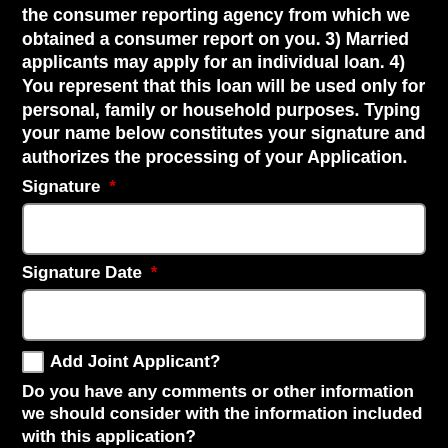the consumer reporting agency from which we obtained a consumer report on you. 3) Married applicants may apply for an individual loan. 4) You represent that this loan will be used only for personal, family or household purposes. Typing your name below constitutes your signature and authorizes the processing of your Application.
Signature *
Signature Date *
Add Joint Applicant?
Do you have any comments or other information we should consider with the information included with this application?